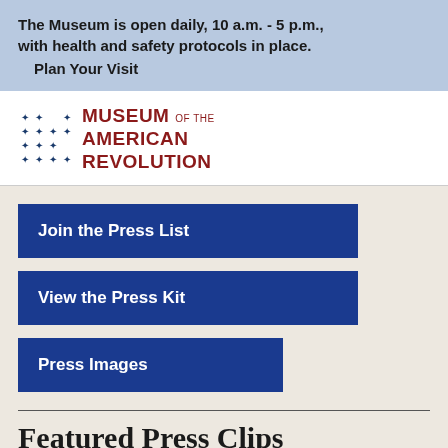The Museum is open daily, 10 a.m. - 5 p.m., with health and safety protocols in place.
  Plan Your Visit
[Figure (logo): Museum of the American Revolution logo with star grid and red text]
Join the Press List
View the Press Kit
Press Images
Featured Press Clips